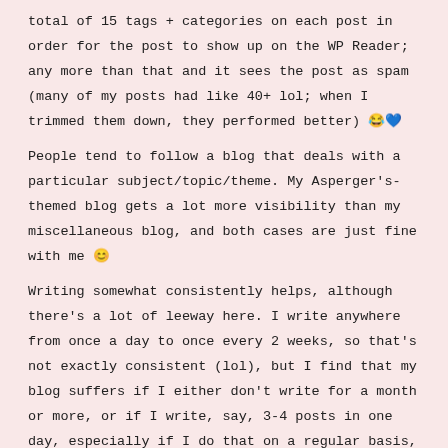total of 15 tags + categories on each post in order for the post to show up on the WP Reader; any more than that and it sees the post as spam (many of my posts had like 40+ lol; when I trimmed them down, they performed better) 😂💙
People tend to follow a blog that deals with a particular subject/topic/theme. My Asperger's-themed blog gets a lot more visibility than my miscellaneous blog, and both cases are just fine with me 😊
Writing somewhat consistently helps, although there's a lot of leeway here. I write anywhere from once a day to once every 2 weeks, so that's not exactly consistent (lol), but I find that my blog suffers if I either don't write for a month or more, or if I write, say, 3-4 posts in one day, especially if I do that on a regular basis, as it would get too overwhelming for some.
Other than that, Be You 😍 show your pictures, share